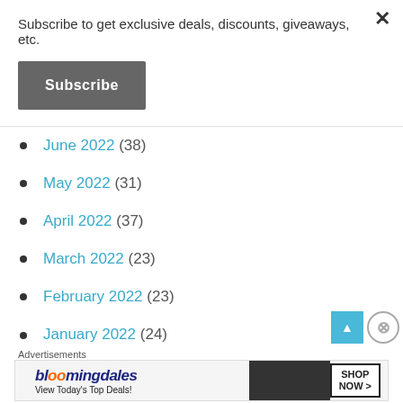Subscribe to get exclusive deals, discounts, giveaways, etc.
Subscribe
June 2022 (38)
May 2022 (31)
April 2022 (37)
March 2022 (23)
February 2022 (23)
January 2022 (24)
December 2021 (32)
November 2021 (39)
Advertisements
[Figure (other): Bloomingdales advertisement banner: 'View Today's Top Deals!' with SHOP NOW >]